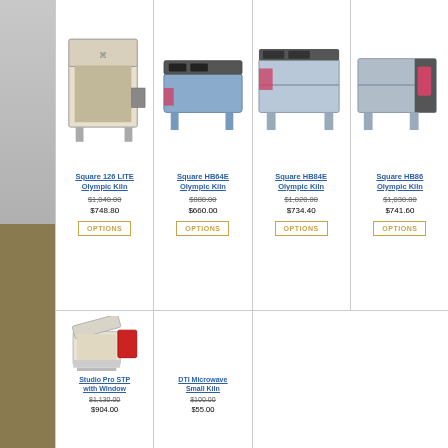[Figure (photo): Square 126 LITE Olympic Kiln product photo]
Square 126 LITE Olympic Kiln
$1,040.00 (strikethrough) $748.80
[Figure (photo): Square HB64E Olympic Kiln product photo]
Square HB64E Olympic Kiln
$880.00 (strikethrough) $660.00
[Figure (photo): Square HB84E Olympic Kiln product photo]
Square HB84E Olympic Kiln
$1,020.00 (strikethrough) $734.40
[Figure (photo): Square HB86M Olympic Kiln product photo (partially cut off)]
Square HB86M Olympic Kiln
$1,030.00 (strikethrough) $741.60
[Figure (photo): Studio Pro STP with Window product photo]
Studio Pro STP with Window
$1,130.00 (strikethrough) $904.00
[Figure (photo): DTI Microwave Small Kiln product photo (empty cell)]
DTI Microwave Small Kiln
$100.00 (strikethrough) $55.00